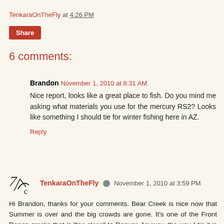TenkaraOnTheFly at 4:26 PM
Share
6 comments:
Brandon  November 1, 2010 at 8:31 AM
Nice report, looks like a great place to fish. Do you mind me asking what materials you use for the mercury RS2? Looks like something I should tie for winter fishing here in AZ.
Reply
TenkaraOnTheFly  November 1, 2010 at 3:59 PM
Hi Brandon, thanks for your comments. Bear Creek is nice now that Summer is over and the big crowds are gone. It's one of the Front Range creeks that is "too close" to Denver.  Anyway, the way I tie it is pretty straight forward: